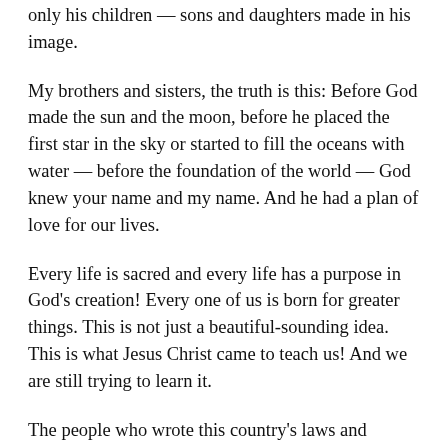only his children — sons and daughters made in his image.
My brothers and sisters, the truth is this: Before God made the sun and the moon, before he placed the first star in the sky or started to fill the oceans with water — before the foundation of the world — God knew your name and my name. And he had a plan of love for our lives.
Every life is sacred and every life has a purpose in God's creation! Every one of us is born for greater things. This is not just a beautiful-sounding idea. This is what Jesus Christ came to teach us! And we are still trying to learn it.
The people who wrote this country's laws and formed our institutions — they understood this teaching. They understood it so well that they called these truths “self-evident.”
America's founders believed that the only justification for